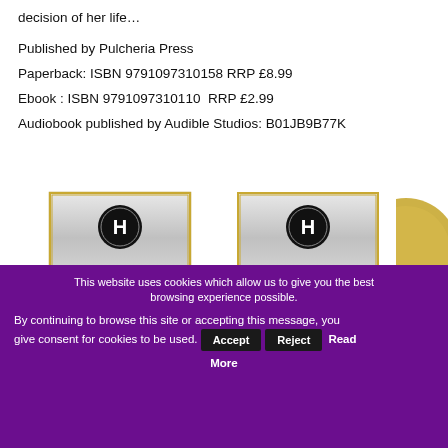decision of her life…
Published by Pulcheria Press
Paperback: ISBN 9791097310158 RRP £8.99
Ebook : ISBN 9791097310110  RRP £2.99
Audiobook published by Audible Studios: B01JB9B77K
[Figure (logo): HNS Indie Reviews Editor's Choice badge with green ribbon banner and H logo]
[Figure (logo): HNS Indie Award 2015 Long Listed badge with green ribbon banner and H logo]
This website uses cookies which allow us to give you the best browsing experience possible.

By continuing to browse this site or accepting this message, you give consent for cookies to be used.
Accept  Reject  Read More